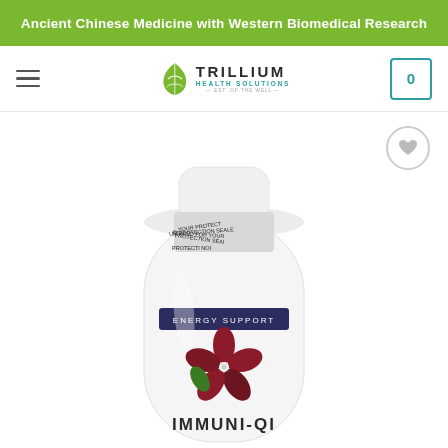Ancient Chinese Medicine with Western Biomedical Research
[Figure (logo): Trillium Health Solutions logo with green leaf icon and teal/blue text]
[Figure (photo): White supplement bottle with tamper-evident seal wrap reading SEALED FOR YOUR PROTECTION, a navy blue label strip reading ENERGY SUPPORT, red flower illustration, and text IMMUNI-QI at the bottom]